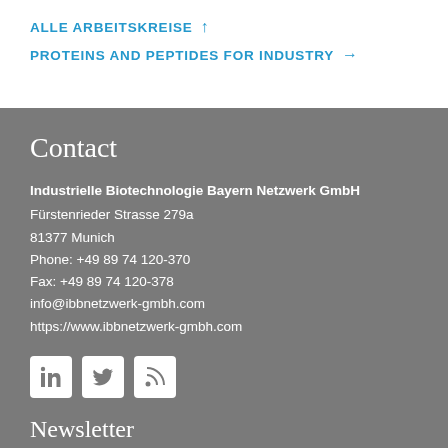ALLE ARBEITSKREISE ↑
PROTEINS AND PEPTIDES FOR INDUSTRY →
Contact
Industrielle Biotechnologie Bayern Netzwerk GmbH
Fürstenrieder Strasse 279a
81377 Munich
Phone: +49 89 74 120-370
Fax: +49 89 74 120-378
info@ibbnetzwerk-gmbh.com
https://www.ibbnetzwerk-gmbh.com
[Figure (infographic): Social media icons: LinkedIn, Twitter, RSS feed]
Newsletter